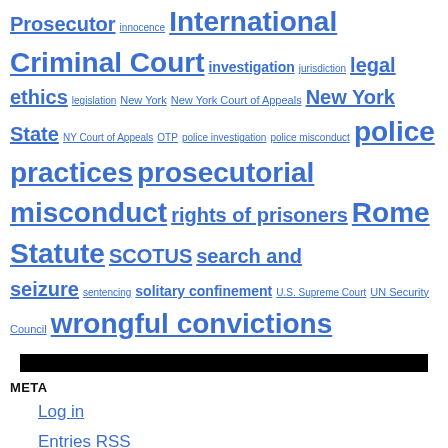Prosecutor innocence International Criminal Court investigation jurisdiction legal ethics legislation New York New York Court of Appeals New York State NY Court of Appeals OTP police investigation police misconduct police practices prosecutorial misconduct rights of prisoners Rome Statute SCOTUS search and seizure sentencing solitary confinement U.S. Supreme Court UN Security Council wrongful convictions
META
Log in
Entries RSS
Comments RSS
Pace University Blogs